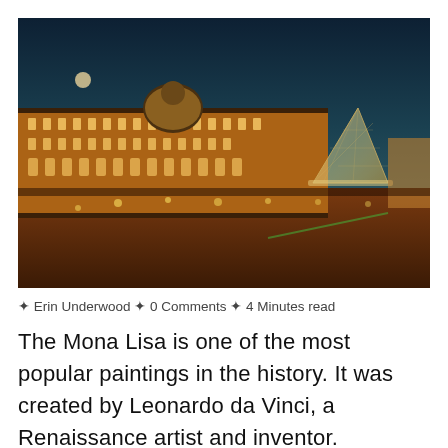[Figure (photo): Night photograph of the Louvre Museum in Paris, showing the illuminated classical facade and the glass pyramid, with a glowing orange courtyard and dark blue sky.]
✦ Erin Underwood ✦ 0 Comments ✦ 4 Minutes read
The Mona Lisa is one of the most popular paintings in the history. It was created by Leonardo da Vinci, a Renaissance artist and inventor.